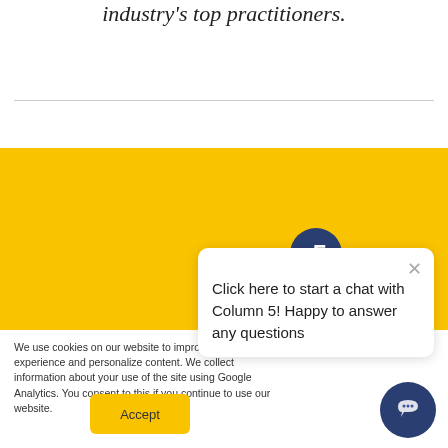industry's top practitioners.
Download the FREE Performance Tip
We use cookies on our website to improve your experience and personalize content. We collect information about your use of the site using Google Analytics. You consent to this if you continue to use our website.
Accept
Click here to start a chat with Column 5! Happy to answer any questions